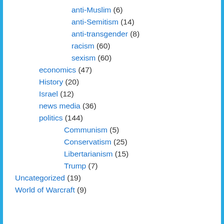anti-Muslim (6)
anti-Semitism (14)
anti-transgender (8)
racism (60)
sexism (60)
economics (47)
History (20)
Israel (12)
news media (36)
politics (144)
Communism (5)
Conservatism (25)
Libertarianism (15)
Trump (7)
Uncategorized (19)
World of Warcraft (9)